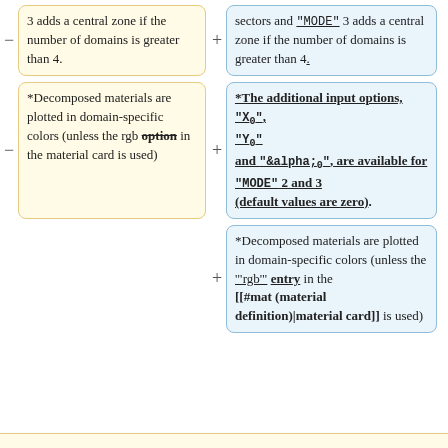3 adds a central zone if the number of domains is greater than 4.
sectors and "MODE" 3 adds a central zone if the number of domains is greater than 4.
*Decomposed materials are plotted in domain-specific colors (unless the rgb option in the material card is used)
*The additional input options, "X0", "Y0" and "&alpha;0", are available for "MODE" 2 and 3 (default values are zero).
*Decomposed materials are plotted in domain-specific colors (unless the 'rgb' entry in the [[#mat (material definition)|material card]] is used)